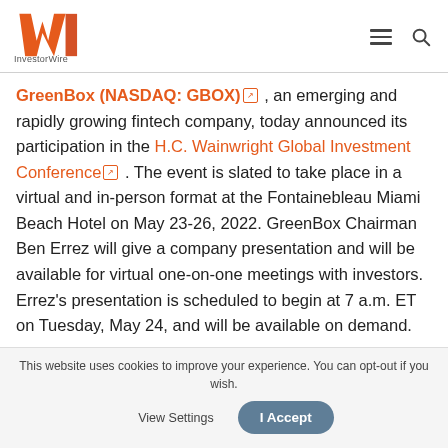InvestorWire
GreenBox (NASDAQ: GBOX), an emerging and rapidly growing fintech company, today announced its participation in the H.C. Wainwright Global Investment Conference. The event is slated to take place in a virtual and in-person format at the Fontainebleau Miami Beach Hotel on May 23-26, 2022. GreenBox Chairman Ben Errez will give a company presentation and will be available for virtual one-on-one meetings with investors. Errez's presentation is scheduled to begin at 7 a.m. ET on Tuesday, May 24, and will be available on demand.
This website uses cookies to improve your experience. You can opt-out if you wish. View Settings I Accept